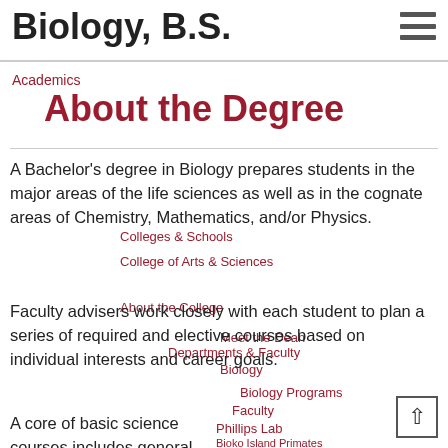Biology, B.S.
Academics
About the Degree
A Bachelor's degree in Biology prepares students in the major areas of the life sciences as well as in the cognate areas of Chemistry, Mathematics, and/or Physics.
Faculty advisers work closely with each student to plan a series of required and elective courses based on individual interests and career goals.
A core of basic science courses includes general biology, evolution and population biology, reading and writing in biology, comparative anatomy and physiology, genetics. A range of electives covers animal behavior, aquatic biology, biochemistry, bioinformatics, cell biology, conservation biology,